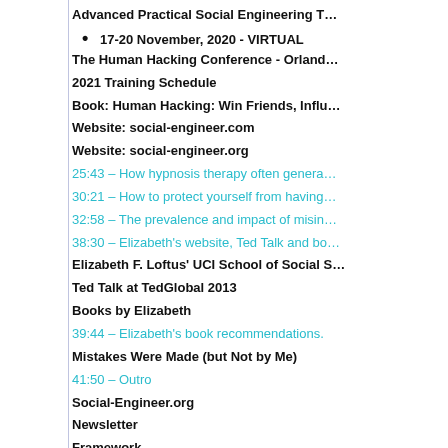Advanced Practical Social Engineering T…
17-20 November, 2020 - VIRTUAL
The Human Hacking Conference - Orland…
2021 Training Schedule
Book: Human Hacking: Win Friends, Influ…
Website: social-engineer.com
Website: social-engineer.org
25:43 – How hypnosis therapy often genera…
30:21 – How to protect yourself from having…
32:58 – The prevalence and impact of misin…
38:30 – Elizabeth's website, Ted Talk and bo…
Elizabeth F. Loftus' UCI School of Social S…
Ted Talk at TedGlobal 2013
Books by Elizabeth
39:44 – Elizabeth's book recommendations.
Mistakes Were Made (but Not by Me)
41:50 – Outro
Social-Engineer.org
Newsletter
Framework